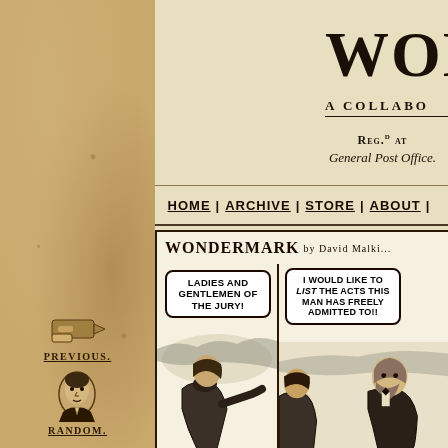WOND
A COLLABO
Reg.d at General Post Office.
BY D... new com...
HOME | ARCHIVE | STORE | ABOUT |
[Figure (illustration): Wondermark comic strip panel showing two men in Victorian dress. Left panel has speech bubble: LADIES AND GENTLEMEN OF THE JURY! Right panel has speech bubble: I WOULD LIKE TO LIST THE ACTS THIS MAN HAS FREELY ADMITTED TO!!]
[Figure (illustration): Previous navigation icon - pointing hand]
PREVIOUS.
[Figure (photo): Random navigation portrait photo]
RANDOM.